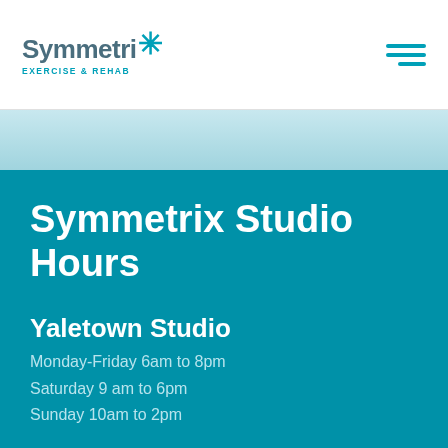[Figure (logo): Symmetrix Exercise & Rehab logo with teal star/person icon and hamburger menu icon]
Symmetrix Studio Hours
Yaletown Studio
Monday-Friday 6am to 8pm
Saturday 9 am to 6pm
Sunday 10am to 2pm
1059 Cambie St
Vancouver, B.C. V6B 5L7